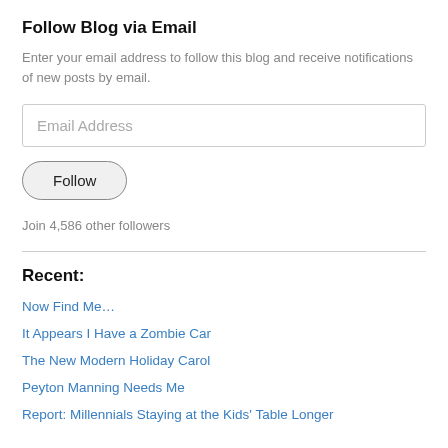Follow Blog via Email
Enter your email address to follow this blog and receive notifications of new posts by email.
Email Address
Follow
Join 4,586 other followers
Recent:
Now Find Me…
It Appears I Have a Zombie Car
The New Modern Holiday Carol
Peyton Manning Needs Me
Report: Millennials Staying at the Kids' Table Longer